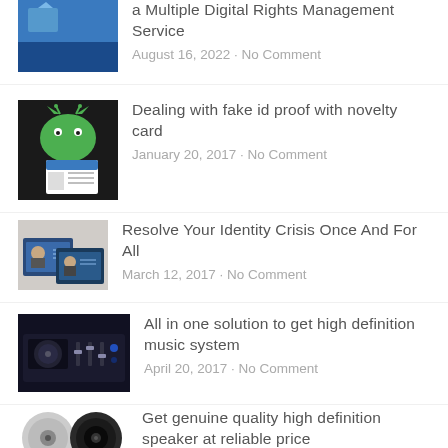a Multiple Digital Rights Management Service
August 16, 2022 · No Comment
Dealing with fake id proof with novelty card
January 20, 2017 · No Comment
Resolve Your Identity Crisis Once And For All
March 12, 2017 · No Comment
All in one solution to get high definition music system
April 20, 2017 · No Comment
Get genuine quality high definition speaker at reliable price